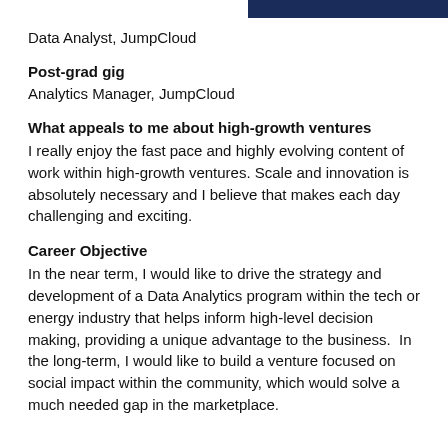Data Analyst, JumpCloud
Post-grad gig
Analytics Manager, JumpCloud
What appeals to me about high-growth ventures
I really enjoy the fast pace and highly evolving content of work within high-growth ventures. Scale and innovation is absolutely necessary and I believe that makes each day challenging and exciting.
Career Objective
In the near term, I would like to drive the strategy and development of a Data Analytics program within the tech or energy industry that helps inform high-level decision making, providing a unique advantage to the business.  In the long-term, I would like to build a venture focused on social impact within the community, which would solve a much needed gap in the marketplace.